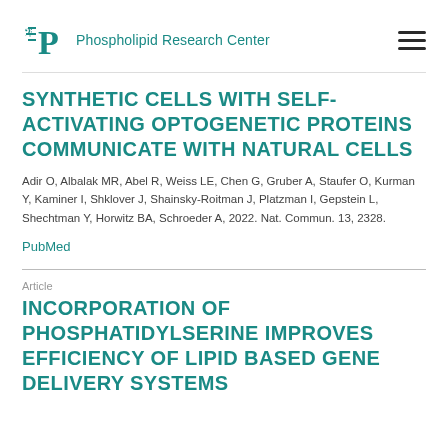Phospholipid Research Center
SYNTHETIC CELLS WITH SELF-ACTIVATING OPTOGENETIC PROTEINS COMMUNICATE WITH NATURAL CELLS
Adir O, Albalak MR, Abel R, Weiss LE, Chen G, Gruber A, Staufer O, Kurman Y, Kaminer I, Shklover J, Shainsky-Roitman J, Platzman I, Gepstein L, Shechtman Y, Horwitz BA, Schroeder A, 2022. Nat. Commun. 13, 2328.
PubMed
Article
INCORPORATION OF PHOSPHATIDYLSERINE IMPROVES EFFICIENCY OF LIPID BASED GENE DELIVERY SYSTEMS